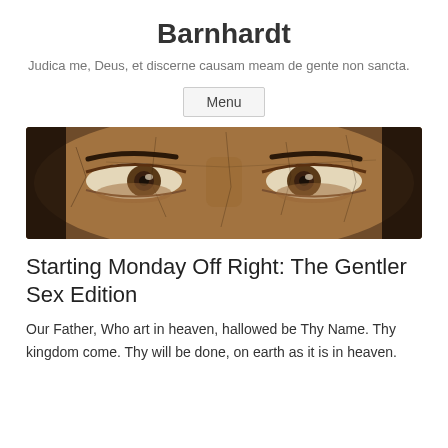Barnhardt
Judica me, Deus, et discerne causam meam de gente non sancta.
Menu
[Figure (photo): Close-up photograph of a painted face showing two eyes, appearing to be from an old religious painting with cracked paint texture. Dark background with brown/tan skin tones.]
Starting Monday Off Right: The Gentler Sex Edition
Our Father, Who art in heaven, hallowed be Thy Name. Thy kingdom come. Thy will be done, on earth as it is in heaven.